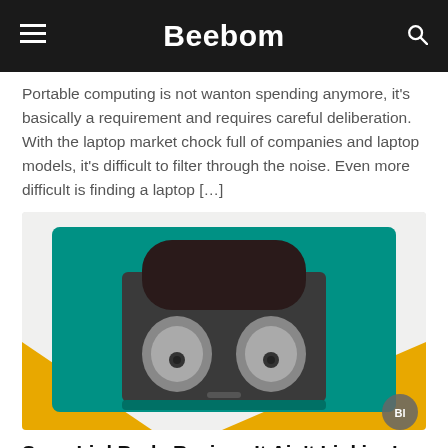Beebom
Portable computing is not wanton spending anymore, it's basically a requirement and requires careful deliberation. With the laptop market chock full of companies and laptop models, it's difficult to filter through the noise. Even more difficult is finding a laptop […]
[Figure (photo): Photo of Sony LinkBuds wireless earbuds in their open charging case, resting on a teal/green textured surface with a yellow background partially visible. A small circular logo is partially visible in the bottom right corner.]
Sony LinkBuds Review: It Ain't Linking!